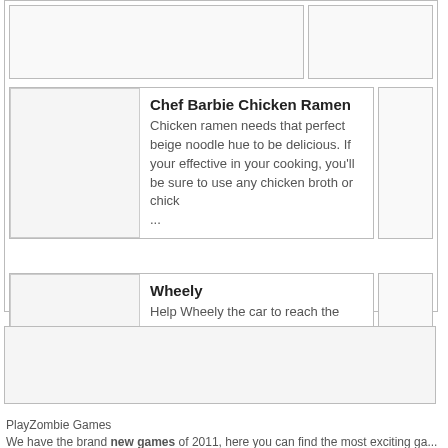Chef Barbie Chicken Ramen
Chicken ramen needs that perfect beige noodle hue to be delicious. If your effective in your cooking, you'll be sure to use any chicken broth or chick ...
Wheely
Help Wheely the car to reach the tournament and become the ultimate rally star. ...
PlayZombie Games
We have the brand new games of 2011, here you can find the most exciting ga... To browse and find fine games, your games Mario, Driving, Unblocked, or C...